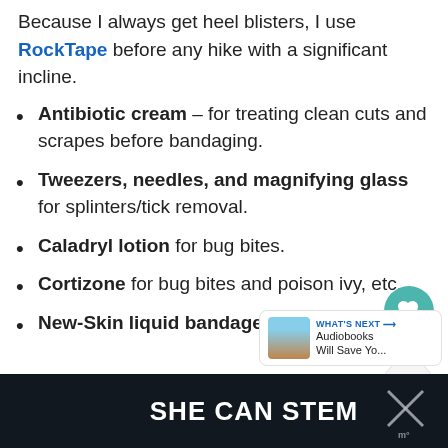Because I always get heel blisters, I use RockTape before any hike with a significant incline.
Antibiotic cream – for treating clean cuts and scrapes before bandaging.
Tweezers, needles, and magnifying glass for splinters/tick removal.
Caladryl lotion for bug bites.
Cortizone for bug bites and poison ivy, etc.
New-Skin liquid bandage. For times
[Figure (screenshot): Heart/like button (teal circle with heart icon) showing count 526 and share button below]
[Figure (screenshot): WHAT'S NEXT widget showing Audiobooks Will Save Yo... with mountain landscape thumbnail]
SHE CAN STEM